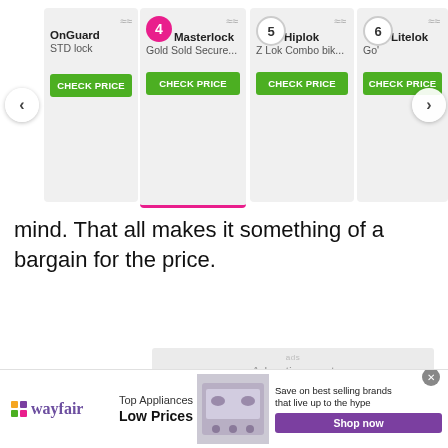[Figure (screenshot): Product carousel showing bike lock items: OnGuard STD lock, Masterlock Gold Sold Secure (rank 4, active/selected), Hiplok Z Lok Combo (rank 5), Litelok Go (rank 6). Each card has a CHECK PRICE green button. Left and right navigation arrows visible.]
mind. That all makes it something of a bargain for the price.
[Figure (screenshot): Advertisement placeholder box (light gray background) with small 'ads' label and 'Advertisement' text.]
[Figure (screenshot): Wayfair banner ad: Wayfair logo, 'Top Appliances Low Prices', stove/range appliance image, 'Save on best selling brands that live up to the hype', purple 'Shop now' button. Close X button in top right corner.]